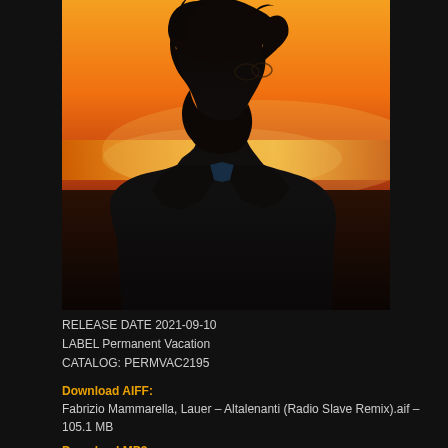[Figure (photo): Silhouette of a bearded man with glasses against a dramatic orange and yellow sunset sky, facing right in profile. Dark foreground, warm glowing horizon.]
RELEASE DATE 2021-09-10
LABEL Permanent Vacation
CATALOG: PERMVAC2195
Download AIFF:
Fabrizio Mammarella, Lauer – Altalenanti (Radio Slave Remix).aif – 105.1 MB
Download MP3: